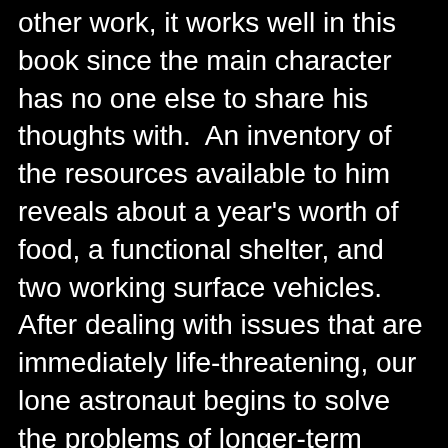other work, it works well in this book since the main character has no one else to share his thoughts with.  An inventory of the resources available to him reveals about a year's worth of food, a functional shelter, and two working surface vehicles.  After dealing with issues that are immediately life-threatening, our lone astronaut begins to solve the problems of longer-term survival, communication, and ultimately escape from the planet.  Much of the great pleasure in reading this book comes from appreciation of Mark's ingenuity, courage, and persistence in solving these increasingly challenging problems.  With science!!
Although this is a work of science fiction, the science is extremely well-grounded in technology that is available today.  The author did his research, and even the most discriminating reader will be hard pressed to find any science bloopers in this work.  There is no magic disguised as science in this book -